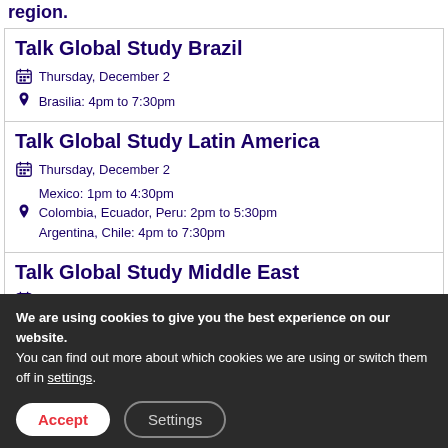region.
Talk Global Study Brazil
Thursday, December 2
Brasilia: 4pm to 7:30pm
Talk Global Study Latin America
Thursday, December 2
Mexico: 1pm to 4:30pm
Colombia, Ecuador, Peru: 2pm to 5:30pm
Argentina, Chile: 4pm to 7:30pm
Talk Global Study Middle East
We are using cookies to give you the best experience on our website.
You can find out more about which cookies we are using or switch them off in settings.
Accept
Settings